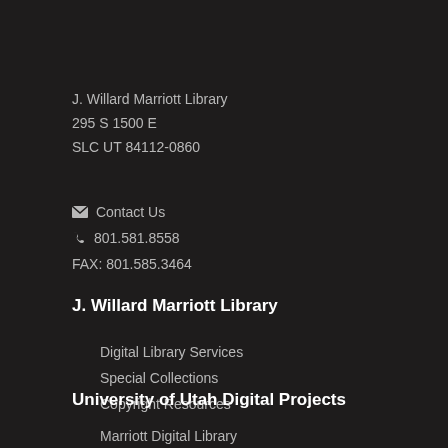J. Willard Marriott Library
295 S 1500 E
SLC UT 84112-0860
Contact Us
801.581.8558
FAX: 801.585.3464
J. Willard Marriott Library
Digital Library Services
Special Collections
Copyright Resources
University of Utah Digital Projects
Marriott Digital Library
Utah Digital Newspapers
Digital Exhibits